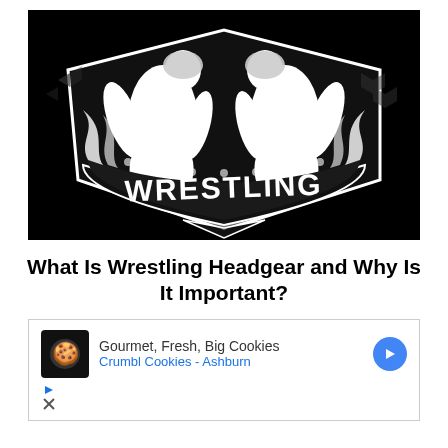[Figure (illustration): Black and white wrestling logo with two wrestlers facing each other in fighting stance, with the word WRESTLING in bold stylized lettering on a banner below them, set against a black shield/crest background]
What Is Wrestling Headgear and Why Is It Important?
[Figure (infographic): Advertisement box with a cookie shop icon, text reading 'Gourmet, Fresh, Big Cookies Crumbl Cookies - Ashburn', blue arrow navigation button, and ad controls with play and close icons]